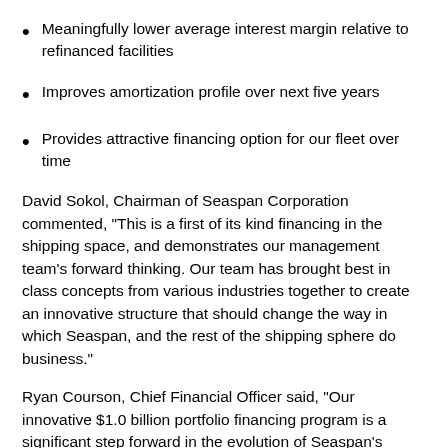Meaningfully lower average interest margin relative to refinanced facilities
Improves amortization profile over next five years
Provides attractive financing option for our fleet over time
David Sokol, Chairman of Seaspan Corporation commented, "This is a first of its kind financing in the shipping space, and demonstrates our management team's forward thinking. Our team has brought best in class concepts from various industries together to create an innovative structure that should change the way in which Seaspan, and the rest of the shipping sphere do business."
Ryan Courson, Chief Financial Officer said, "Our innovative $1.0 billion portfolio financing program is a significant step forward in the evolution of Seaspan's capital structure. We intend to use the proceeds to repay existing secured debt, and expect to be leverage neutral post-transaction. At the outset, the Program reduces our cost of debt, and improves our maturity profile. Longer term, we expect that this structure will provide us with a low cost, after...